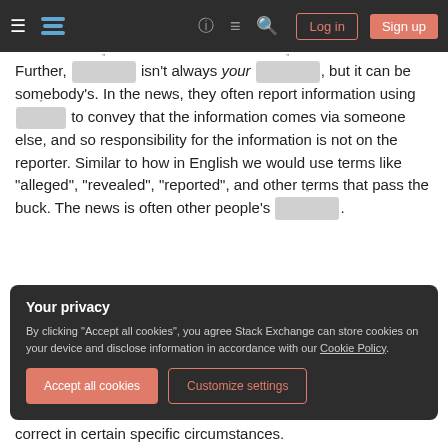Stack Exchange navigation bar with Log in and Sign up buttons
Further, [redacted] isn't always your [redacted], but it can be somebody's. In the news, they often report information using [redacted] to convey that the information comes via someone else, and so responsibility for the information is not on the reporter. Similar to how in English we would use terms like "alleged", "revealed", "reported", and other terms that pass the buck. The news is often other people's [redacted].
Your privacy
By clicking "Accept all cookies", you agree Stack Exchange can store cookies on your device and disclose information in accordance with our Cookie Policy.
correct in certain specific circumstances.